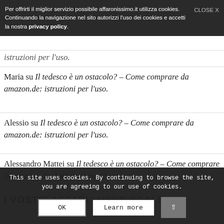Per offrirti il miglior servizio possibile affaronissimo.it utilizza cookies. Continuando la navigazione nel sito autorizzi l'uso dei cookies e accetti la nostra privacy policy. CLOSE X
Maria su Il tedesco è un ostacolo? – Come comprare da amazon.de: istruzioni per l'uso.
Alessio su Il tedesco è un ostacolo? – Come comprare da amazon.de: istruzioni per l'uso.
Alessandro Mattei su Il tedesco è un ostacolo? – Come comprare da amazon.de: istruzioni per l'uso.
I VOSTRI AFFARI / USER DEALS
This site uses cookies. By continuing to browse the site, you are agreeing to our use of cookies.